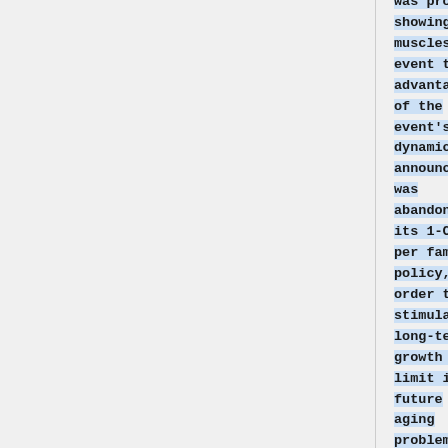was proudly showing its muscles. It event took advantage of the event's dynamics to announce it was abandoning its 1-Child per family policy, in order to stimulate long-term growth and limit its future aging problem.